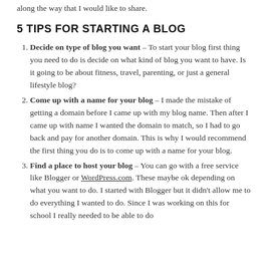along the way that I would like to share.
5 TIPS FOR STARTING A BLOG
Decide on type of blog you want – To start your blog first thing you need to do is decide on what kind of blog you want to have. Is it going to be about fitness, travel, parenting, or just a general lifestyle blog?
Come up with a name for your blog – I made the mistake of getting a domain before I came up with my blog name. Then after I came up with name I wanted the domain to match, so I had to go back and pay for another domain. This is why I would recommend the first thing you do is to come up with a name for your blog.
Find a place to host your blog – You can go with a free service like Blogger or WordPress.com. These maybe ok depending on what you want to do. I started with Blogger but it didn't allow me to do everything I wanted to do. Since I was working on this for school I really needed to be able to do